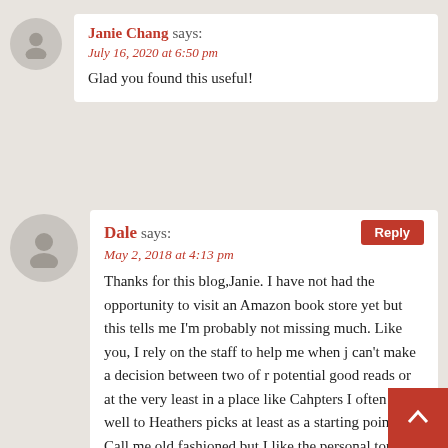Janie Chang says: July 16, 2020 at 6:50 pm
Glad you found this useful!
Dale says: May 2, 2018 at 4:13 pm
Thanks for this blog,Janie. I have not had the opportunity to visit an Amazon book store yet but this tells me I'm probably not missing much. Like you, I rely on the staff to help me when j can't make a decision between two of r potential good reads or at the very least in a place like Cahpters I often relate well to Heathers picks at least as a starting point. Call me old fashioned but I like the personal touch. The only time I buy online is when I know exactly what j want and I can't get it locally. Also one of the best places to find great advice on what to